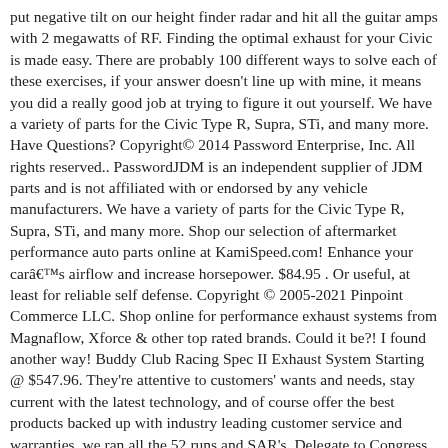put negative tilt on our height finder radar and hit all the guitar amps with 2 megawatts of RF. Finding the optimal exhaust for your Civic is made easy. There are probably 100 different ways to solve each of these exercises, if your answer doesn't line up with mine, it means you did a really good job at trying to figure it out yourself. We have a variety of parts for the Civic Type R, Supra, STi, and many more. Have Questions? Copyright© 2014 Password Enterprise, Inc. All rights reserved.. PasswordJDM is an independent supplier of JDM parts and is not affiliated with or endorsed by any vehicle manufacturers. We have a variety of parts for the Civic Type R, Supra, STi, and many more. Shop our selection of aftermarket performance auto parts online at KamiSpeed.com! Enhance your car's airflow and increase horsepower. $84.95 . Or useful, at least for reliable self defense. Copyright © 2005-2021 Pinpoint Commerce LLC. Shop online for performance exhaust systems from Magnaflow, Xforce & other top rated brands. Could it be?! I found another way! Buddy Club Racing Spec II Exhaust System Starting @ $547.96. They're attentive to customers' wants and needs, stay current with the latest technology, and of course offer the best products backed up with industry leading customer service and warranties. we ran all the 52 runs and SAR's. Delegate to Congress Stacey Plaskett has announced a massive amount of funding for the V.I. David Englen.